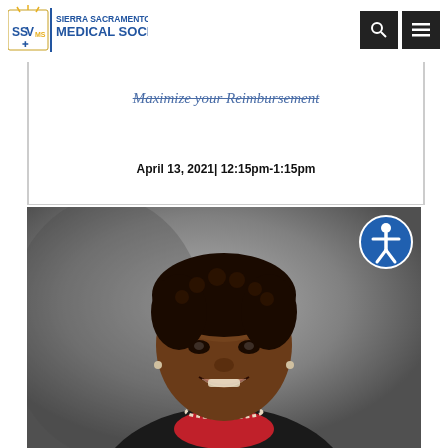Sierra Sacramento Valley Medical Society
Maximize your Reimbursement
April 13, 2021| 12:15pm-1:15pm
[Figure (photo): Professional headshot photo of a woman smiling, wearing a dark blazer over a red top with pearl necklace, against a gray studio background]